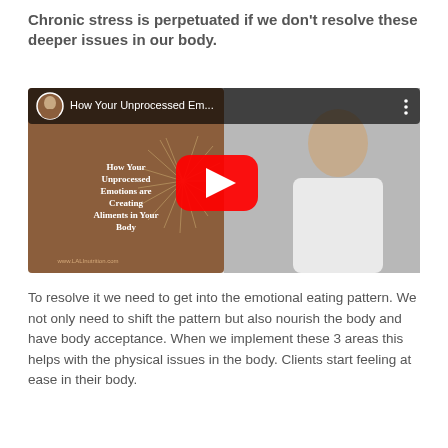Chronic stress is perpetuated if we don't resolve these deeper issues in our body.
[Figure (screenshot): YouTube video thumbnail showing a woman with long dark hair in a white off-shoulder top, beside a brown decorative panel with the text 'How Your Unprocessed Emotions are Creating Aliments in Your Body' and a YouTube play button overlay. Video title bar reads 'How Your Unprocessed Em...' with a small circular profile photo.]
To resolve it we need to get into the emotional eating pattern. We not only need to shift the pattern but also nourish the body and have body acceptance. When we implement these 3 areas this helps with the physical issues in the body. Clients start feeling at ease in their body.